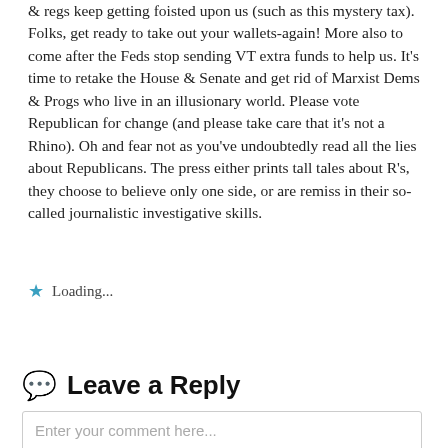& regs keep getting foisted upon us (such as this mystery tax). Folks, get ready to take out your wallets-again! More also to come after the Feds stop sending VT extra funds to help us. It's time to retake the House & Senate and get rid of Marxist Dems & Progs who live in an illusionary world. Please vote Republican for change (and please take care that it's not a Rhino). Oh and fear not as you've undoubtedly read all the lies about Republicans. The press either prints tall tales about R's, they choose to believe only one side, or are remiss in their so-called journalistic investigative skills.
Loading...
Reply
Leave a Reply
Enter your comment here...